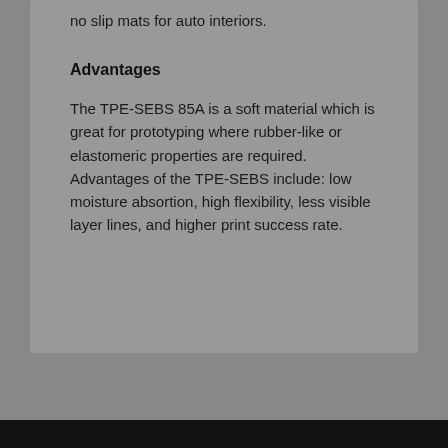no slip mats for auto interiors.
Advantages
The TPE-SEBS 85A is a soft material which is great for prototyping where rubber-like or elastomeric properties are required. Advantages of the TPE-SEBS include: low moisture absortion, high flexibility, less visible layer lines, and higher print success rate.